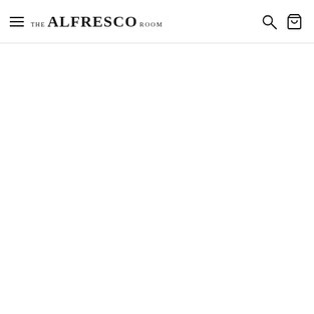THE ALFRESCO ROOM
[Figure (screenshot): Blank white content area below the navigation header]